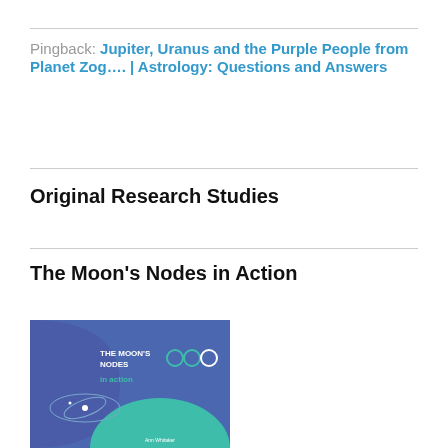Pingback: Jupiter, Uranus and the Purple People from Planet Zog…. | Astrology: Questions and Answers
Original Research Studies
The Moon's Nodes in Action
[Figure (illustration): Book cover for 'The Moon's Nodes in Action' by Ann Whitaker. Blue and teal background with circular node symbols and orbital diagram.]